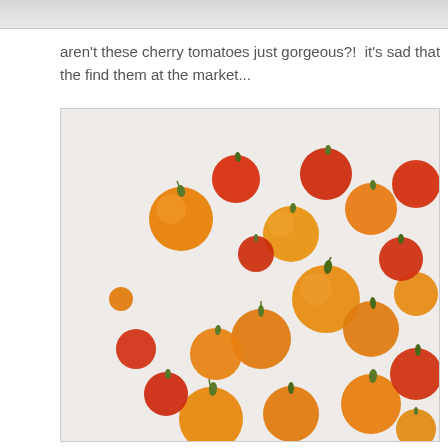[Figure (photo): Top portion of a previous photo, partially cropped, showing a gray/light background strip at the top of the page.]
aren't these cherry tomatoes just gorgeous?!  it's sad that the find them at the market...
[Figure (photo): Overhead photo of scattered red and orange cherry tomatoes on a light gray/white surface. The tomatoes are a mix of bright red and orange varieties, many with small green stems attached, spread across the frame in a casual arrangement.]